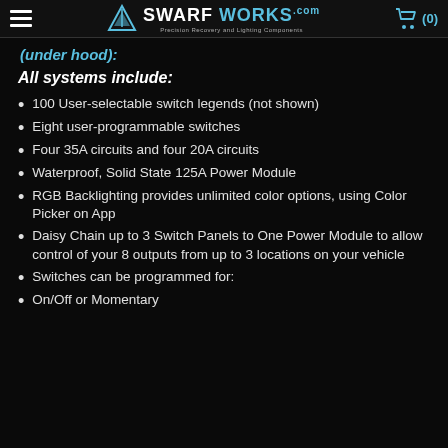SWARF WORKS .com — Precision Recovery and Lighting Components | Cart (0)
(under hood):
All systems include:
100 User-selectable switch legends (not shown)
Eight user-programmable switches
Four 35A circuits and four 20A circuits
Waterproof, Solid State 125A Power Module
RGB Backlighting provides unlimited color options, using Color Picker on App
Daisy Chain up to 3 Switch Panels to One Power Module to allow control of your 8 outputs from up to 3 locations on your vehicle
Switches can be programmed for:
On/Off or Momentary